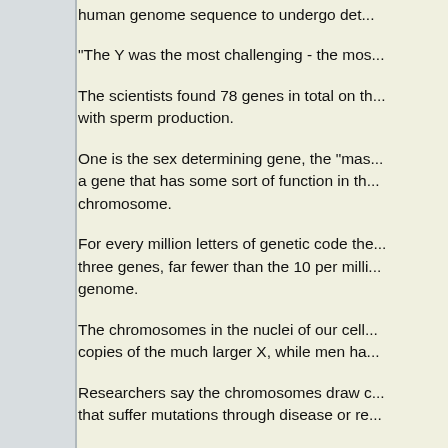human genome sequence to undergo det...
"The Y was the most challenging - the mos...
The scientists found 78 genes in total on th... with sperm production.
One is the sex determining gene, the "mas... a gene that has some sort of function in th... chromosome.
For every million letters of genetic code the... three genes, far fewer than the 10 per milli... genome.
The chromosomes in the nuclei of our cell... copies of the much larger X, while men ha...
Researchers say the chromosomes draw c... that suffer mutations through disease or re...
But the Y cannot do this with the X, and it ... genes within itself. It will use one copy to fi... conversion.
Dr David Page, from the Whitehead Institu... deciphering the Y chromosome, said: "The... experiment of nature.
"In our work, every few years we've caugh... this experiment. And of all those aspects...